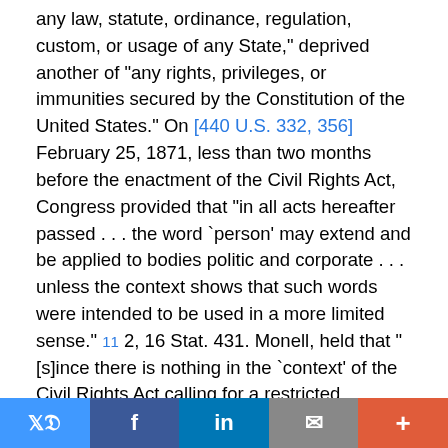any law, statute, ordinance, regulation, custom, or usage of any State," deprived another of "any rights, privileges, or immunities secured by the Constitution of the United States." On [440 U.S. 332, 356]   February 25, 1871, less than two months before the enactment of the Civil Rights Act, Congress provided that "in all acts hereafter passed . . . the word `person' may extend and be applied to bodies politic and corporate . . . unless the context shows that such words were intended to be used in a more limited sense." 11 2, 16 Stat. 431. Monell, held that "[s]ince there is nothing in the `context' of the Civil Rights Act calling for a restricted interpretation of the word `person,' the language of that section should prima facie be construed to include `bodies politic' among the entities that could be sued." 436 U.S., at 689 -690, n. 53. Even the Court's opinion today does not dispute the fact that in 1871 the phrase "bodies politic and
Twitter | Facebook | LinkedIn | Email | +